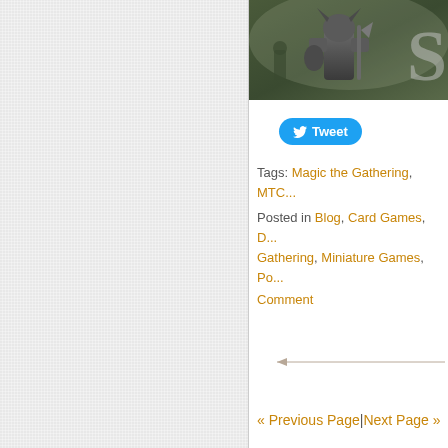[Figure (photo): Screenshot of a dark fantasy game showing an armored warrior character]
Tweet
Tags: Magic the Gathering, MTC...
Posted in Blog, Card Games, D... Gathering, Miniature Games, Po...
Comment
[Figure (other): Left arrow navigation line]
« Previous Page|Next Page »